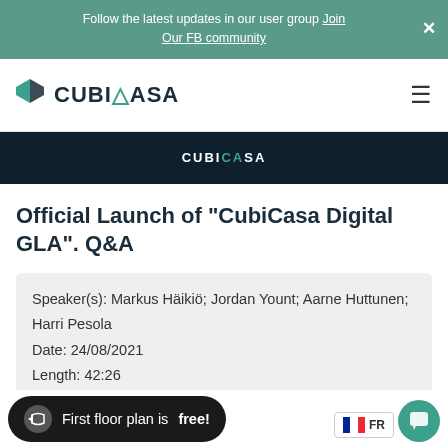Follow the latest updates in our user group Join Our FB community
[Figure (logo): CubiCasa logo with teal arrow/chevron icon and bold navy text]
[Figure (screenshot): Dark navy banner with CUBICASA text in white/teal letters]
Official Launch of "CubiCasa Digital GLA". Q&A
Speaker(s): Markus Häikiö; Jordan Yount; Aarne Huttunen; Harri Pesola
Date: 24/08/2021
Length: 42:26
First floor plan is free!